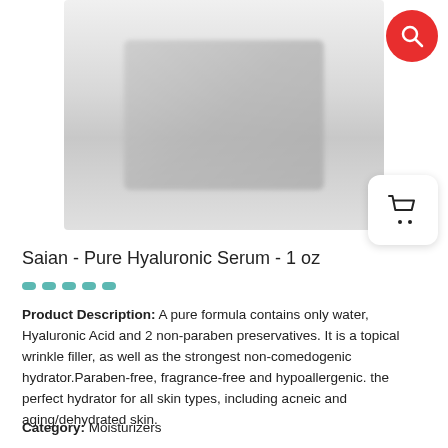[Figure (photo): Blurred product image of Saian Pure Hyaluronic Serum bottle]
Saian - Pure Hyaluronic Serum - 1 oz
Product Description: A pure formula contains only water, Hyaluronic Acid and 2 non-paraben preservatives. It is a topical wrinkle filler, as well as the strongest non-comedogenic hydrator.Paraben-free, fragrance-free and hypoallergenic. the perfect hydrator for all skin types, including acneic and aging/dehydrated skin.
Category: Moisturizers